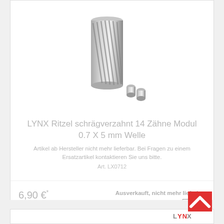[Figure (photo): Helical gear (Ritzel) product photo showing a metal cylindrical gear with helical teeth and two small cylindrical pins beside it]
LYNX Ritzel schrägverzahnt 14 Zähne Modul 0.7 X 5 mm Welle
Artikel ab Hersteller nicht mehr lieferbar. Bei Fragen zu einem Ersatzartikel kontaktieren Sie uns bitte.
Art. LX0712
6,90 €*
Ausverkauft, nicht mehr lieferbar
[Figure (logo): LYNX brand logo with red square and white chevron/arrow mark above text LYNX]